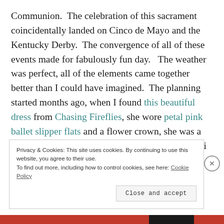Communion.  The celebration of this sacrament coincidentally landed on Cinco de Mayo and the Kentucky Derby.  The convergence of all of these events made for fabulously fun day.   The weather was perfect, all of the elements came together better than I could have imagined.  The planning started months ago, when I found this beautiful dress from Chasing Fireflies, she wore petal pink ballet slipper flats and a flower crown, she was a vision.   I wore this ivory Amanda Uprichard midi dress with a
Privacy & Cookies: This site uses cookies. By continuing to use this website, you agree to their use.
To find out more, including how to control cookies, see here: Cookie Policy
Close and accept